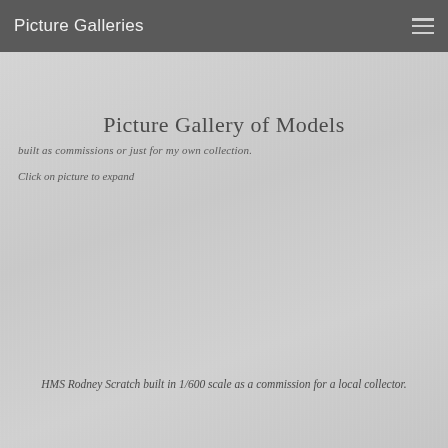Picture Galleries
Picture Gallery of Models
built as commissions or just for my own collection.
Click on picture to expand
HMS Rodney Scratch built in 1/600 scale as a commission for a local collector.